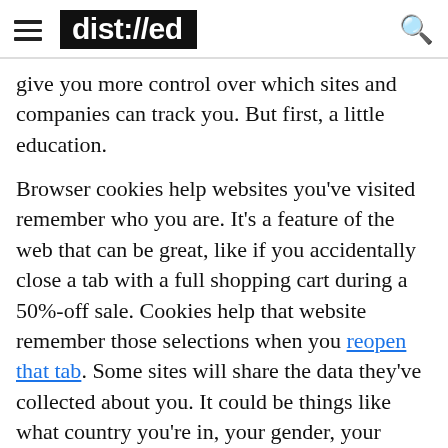dist://ed
give you more control over which sites and companies can track you. But first, a little education.
Browser cookies help websites you’ve visited remember who you are. It’s a feature of the web that can be great, like if you accidentally close a tab with a full shopping cart during a 50%-off sale. Cookies help that website remember those selections when you reopen that tab. Some sites will share the data they’ve collected about you. It could be things like what country you’re in, your gender, your affection for knee-high socks. These things can be used to create a profile. And that profile